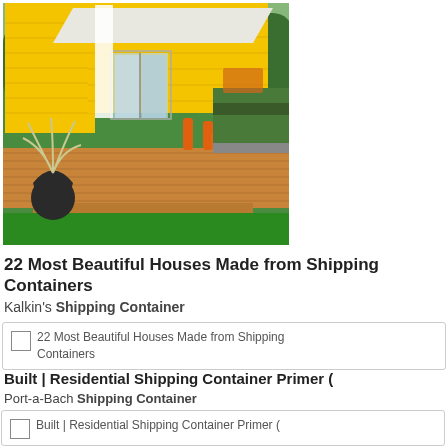[Figure (photo): A yellow shipping container converted into a house with a wooden deck, green lawn, potted plants, and a white awning. Outdoor furniture visible.]
22 Most Beautiful Houses Made from Shipping Containers
Kalkin's Shipping Container
[Figure (screenshot): Thumbnail image placeholder: 22 Most Beautiful Houses Made from Shipping Containers]
Built | Residential Shipping Container Primer (
Port-a-Bach Shipping Container
[Figure (screenshot): Thumbnail image placeholder: Built | Residential Shipping Container Primer (]